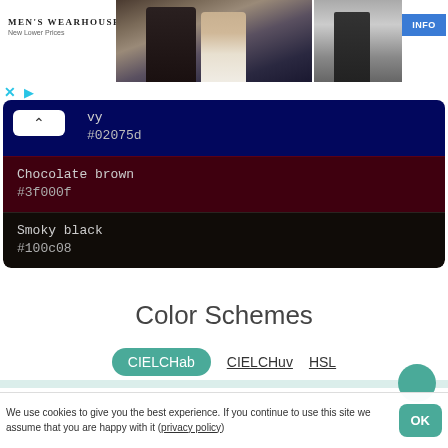[Figure (photo): Men's Wearhouse advertisement banner with a couple in formal wear and a single man in suit, with INFO button]
vy
#02075d
Chocolate brown
#3f000f
Smoky black
#100c08
Color Schemes
CIELCHab   CIELCHuv   HSL
We use cookies to give you the best experience. If you continue to use this site we assume that you are happy with it (privacy policy)